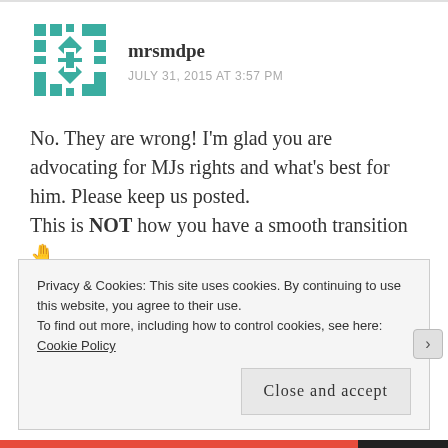[Figure (illustration): Teal/green geometric avatar icon — a square grid pattern with diamond shapes]
mrsmdpe
JULY 31, 2015 AT 3:57 PM
No. They are wrong! I'm glad you are advocating for MJs rights and what's best for him. Please keep us posted.
This is NOT how you have a smooth transition 🤚
That's garbage!
★ Liked by 1 person
Privacy & Cookies: This site uses cookies. By continuing to use this website, you agree to their use.
To find out more, including how to control cookies, see here: Cookie Policy
Close and accept